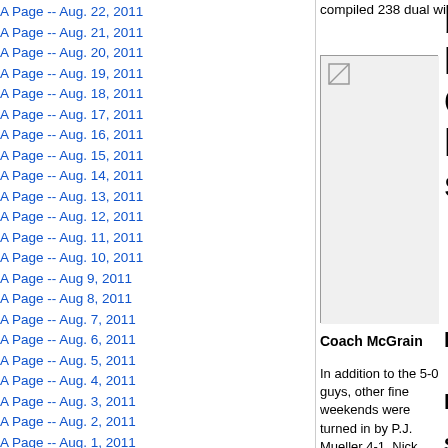A Page -- Aug. 22, 2011
A Page -- Aug. 21, 2011
A Page -- Aug. 20, 2011
A Page -- Aug. 19, 2011
A Page -- Aug. 18, 2011
A Page -- Aug. 17, 2011
A Page -- Aug. 16, 2011
A Page -- Aug. 15, 2011
A Page -- Aug. 14, 2011
A Page -- Aug. 13, 2011
A Page -- Aug. 12, 2011
A Page -- Aug. 11, 2011
A Page -- Aug. 10, 2011
A Page -- Aug 9, 2011
A Page -- Aug 8, 2011
A Page -- Aug. 7, 2011
A Page -- Aug. 6, 2011
A Page -- Aug. 5, 2011
A Page -- Aug. 4, 2011
A Page -- Aug. 3, 2011
A Page -- Aug. 2, 2011
A Page -- Aug. 1, 2011
A Page -- July 31, 2011
compiled 238 dual wins over the years.
[Figure (photo): Photo placeholder image]
bowling; Rangers' O'Sullivan has best series
December 6, 2010
Coach McGrain
By Norm Weber
Student/Athlete-Cleveland Editor
Normweber@studenta
In addition to the 5-0 guys, other fine weekends were turned in by P.J. Mueller 4-1, Nick Asadorian 4-1, L.J. Yurick 3-1, Kyle Kokitka 4-1
North Ridgeville's Mike O'Sullivan